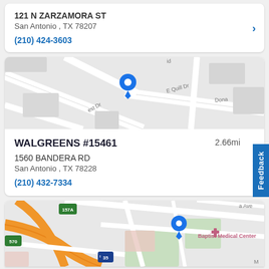121 N ZARZAMORA ST
San Antonio , TX 78207
(210) 424-3603
[Figure (map): Map showing location near intersection with streets labeled including E Quill Dr, Sutton Dr, Dona, and rest Dr. Blue location pin in center.]
WALGREENS #15461
2.66mi
1560 BANDERA RD
San Antonio , TX 78228
(210) 432-7334
[Figure (map): Map showing location near Baptist Medical Center with highways 570, 35, and 157A visible. Blue location pin in center-left area.]